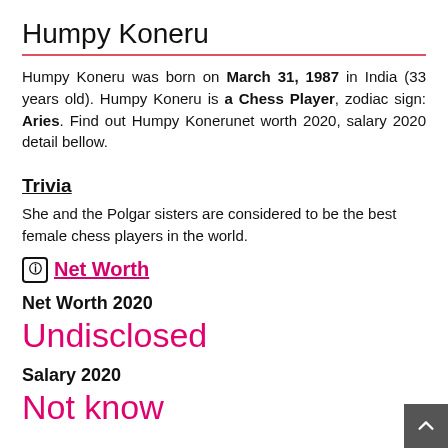Humpy Koneru
Humpy Koneru was born on March 31, 1987 in India (33 years old). Humpy Koneru is a Chess Player, zodiac sign: Aries. Find out Humpy Konerunet worth 2020, salary 2020 detail bellow.
Trivia
She and the Polgar sisters are considered to be the best female chess players in the world.
Net Worth
Net Worth 2020
Undisclosed
Salary 2020
Not known